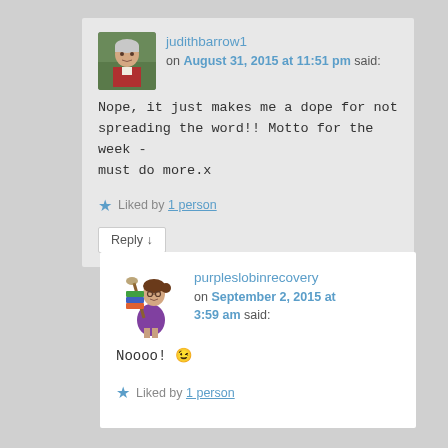judithbarrow1 on August 31, 2015 at 11:51 pm said:
Nope, it just makes me a dope for not spreading the word!! Motto for the week - must do more.x
Liked by 1 person
Reply
purpleslobinrecovery on September 2, 2015 at 3:59 am said:
Noooo! 😉
Liked by 1 person